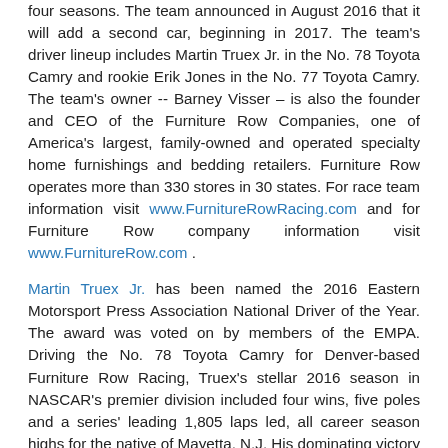four seasons. The team announced in August 2016 that it will add a second car, beginning in 2017. The team's driver lineup includes Martin Truex Jr. in the No. 78 Toyota Camry and rookie Erik Jones in the No. 77 Toyota Camry. The team's owner -- Barney Visser – is also the founder and CEO of the Furniture Row Companies, one of America's largest, family-owned and operated specialty home furnishings and bedding retailers. Furniture Row operates more than 330 stores in 30 states. For race team information visit www.FurnitureRowRacing.com and for Furniture Row company information visit www.FurnitureRow.com .
Martin Truex Jr. has been named the 2016 Eastern Motorsport Press Association National Driver of the Year. The award was voted on by members of the EMPA. Driving the No. 78 Toyota Camry for Denver-based Furniture Row Racing, Truex's stellar 2016 season in NASCAR's premier division included four wins, five poles and a series' leading 1,805 laps led, all career season highs for the native of Mayetta, N.J. His dominating victory at the Coca-Cola 600 at Charlotte (N.C.) Motor Speedway set a NASCAR record for miles led (588) and an event record for laps led – 392 out of